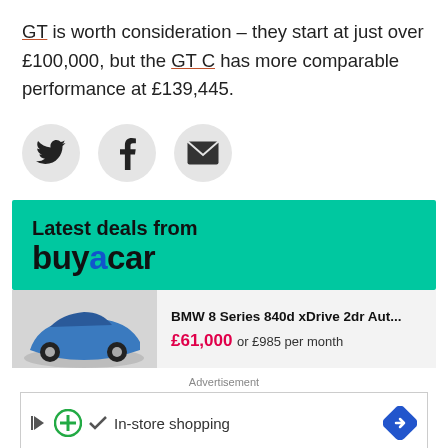GT is worth consideration – they start at just over £100,000, but the GT C has more comparable performance at £139,445.
[Figure (infographic): Three social share buttons: Twitter bird icon, Facebook f icon, and email/envelope icon, each in a grey circle.]
[Figure (infographic): Latest deals from buyacar banner with teal/green background. Large bold text says 'Latest deals from' on top line, 'buyacar' on second line with 'a' in blue.]
[Figure (infographic): Car listing: BMW 8 Series 840d xDrive 2dr Aut... with blue car image on left, price £61,000 or £985 per month on right.]
Advertisement
[Figure (infographic): Advertisement banner: play button, green circle with plus, checkmark, 'In-store shopping' text, and blue diamond arrow icon on the right.]